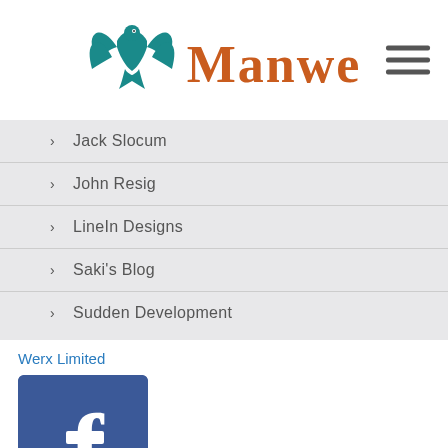[Figure (logo): Manwe logo with teal eagle/bird icon and orange text 'MANWE']
[Figure (infographic): Hamburger menu icon (three horizontal lines)]
Jack Slocum
John Resig
LineIn Designs
Saki's Blog
Sudden Development
Werx Limited
[Figure (logo): Facebook logo icon - blue square with white 'f']